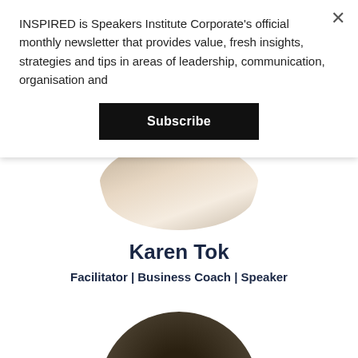INSPIRED is Speakers Institute Corporate's official monthly newsletter that provides value, fresh insights, strategies and tips in areas of leadership, communication, organisation and
Subscribe
[Figure (photo): Circular cropped portrait photo of Karen Tok, partially visible at top of page behind modal overlay]
Karen Tok
Facilitator | Business Coach | Speaker
[Figure (photo): Circular cropped portrait photo of second person, only top portion of head visible at bottom of page]